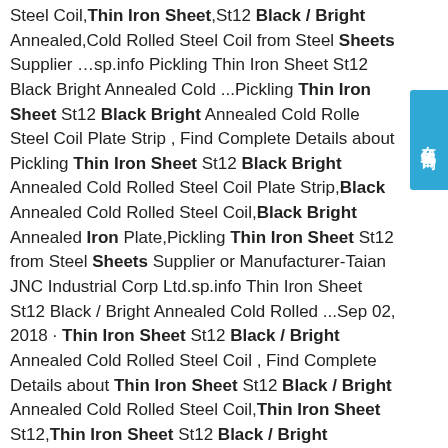Steel Coil,Thin Iron Sheet,St12 Black / Bright Annealed,Cold Rolled Steel Coil from Steel Sheets Supplier …sp.info Pickling Thin Iron Sheet St12 Black Bright Annealed Cold ...Pickling Thin Iron Sheet St12 Black Bright Annealed Cold Rolled Steel Coil Plate Strip , Find Complete Details about Pickling Thin Iron Sheet St12 Black Bright Annealed Cold Rolled Steel Coil Plate Strip,Black Annealed Cold Rolled Steel Coil,Black Bright Annealed Iron Plate,Pickling Thin Iron Sheet St12 from Steel Sheets Supplier or Manufacturer-Taian JNC Industrial Corp Ltd.sp.info Thin Iron Sheet St12 Black / Bright Annealed Cold Rolled ...Sep 02, 2018 · Thin Iron Sheet St12 Black / Bright Annealed Cold Rolled Steel Coil , Find Complete Details about Thin Iron Sheet St12 Black / Bright Annealed Cold Rolled Steel Coil,Thin Iron Sheet St12,Thin Iron Sheet St12 Black / Bright Annealed,Thin Iron Sheet St12 Black / Bright Annealed Cold Rolled Steel Coil from Steel Sheets Supplier or Manufacturer-